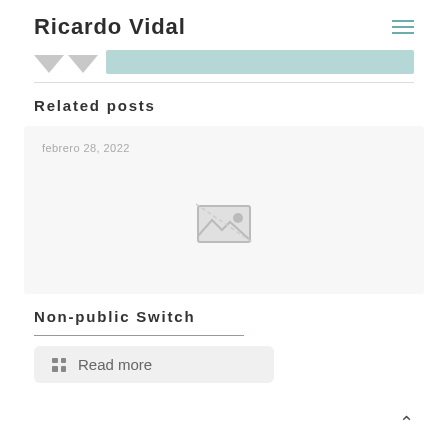Ricardo Vidal
[Figure (illustration): Two downward-pointing triangles (avatar placeholder) and a teal bar beside them]
Related posts
[Figure (illustration): Post card thumbnail placeholder with broken image icon and date 'febrero 28, 2022']
febrero 28, 2022
Non-public Switch
Read more